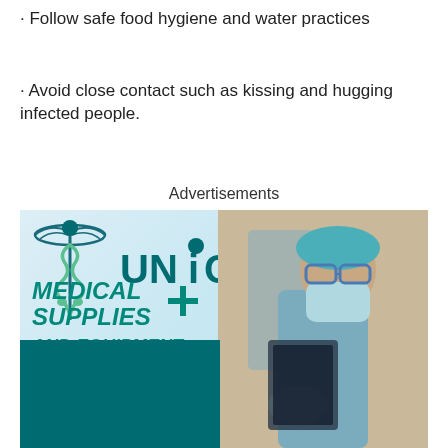· Follow safe food hygiene and water practices
· Avoid close contact such as kissing and hugging infected people.
Advertisements
[Figure (infographic): UniCare Medical Supplies and Equipment advertisement. Features a caduceus medical symbol logo, the UniCare brand name, bold text reading 'MEDICAL SUPPLIES AND EQUIPMENT', a photo of a medical worker in scrubs and mask, and a teal banner section with text 'What do we offer? At Unicare, we provide top quality medical equipment. All major insurances accepted including Medicare and Medicaid**']